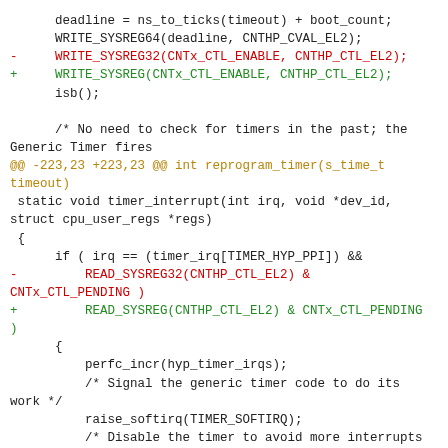Code diff showing changes from WRITE_SYSREG32 to WRITE_SYSREG and READ_SYSREG32 to READ_SYSREG in timer interrupt handler